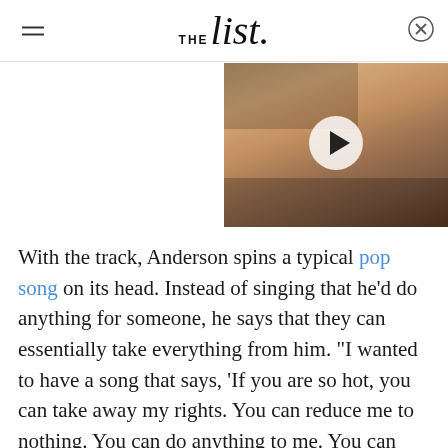THE list
[Figure (photo): A woman with short dark hair and dramatic eye makeup, partially visible video thumbnail with a play button overlay]
With the track, Anderson spins a typical pop song on its head. Instead of singing that he'd do anything for someone, he says that they can essentially take everything from him. "I wanted to have a song that says, 'If you are so hot, you can take away my rights. You can reduce me to nothing. You can do anything to me. You can have my assets, you can have my family. You can be my conservator. I am your furniture,'"